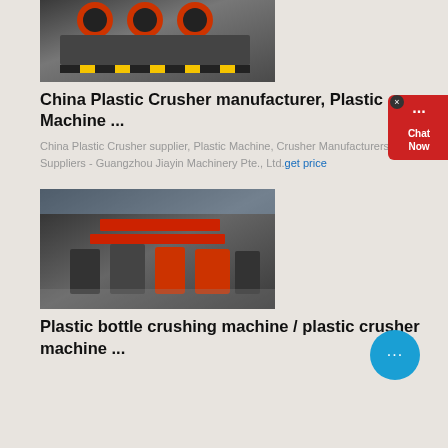[Figure (photo): Photo of industrial plastic crusher machines with yellow-black safety markings on a factory floor]
China Plastic Crusher manufacturer, Plastic Machine ...
China Plastic Crusher supplier, Plastic Machine, Crusher Manufacturers/ Suppliers - Guangzhou Jiayin Machinery Pte., Ltd.get price
[Figure (photo): Photo of industrial crushing machines in a large factory hall with red banners and equipment on display]
Plastic bottle crushing machine / plastic crusher machine ...